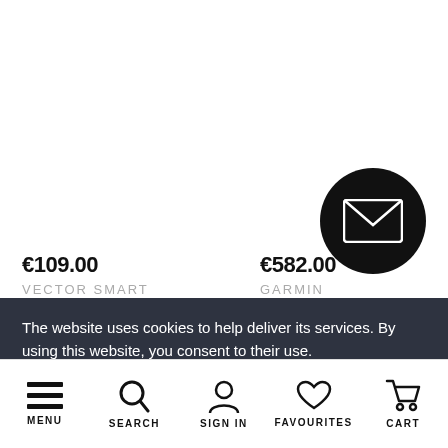€109.00
VECTOR SMART
€582.00
GARMIN
[Figure (illustration): Black circle with white envelope/mail icon]
The website uses cookies to help deliver its services. By using this website, you consent to their use. Privacy Policy »
I AGREE
MENU  SEARCH  SIGN IN  FAVOURITES  CART